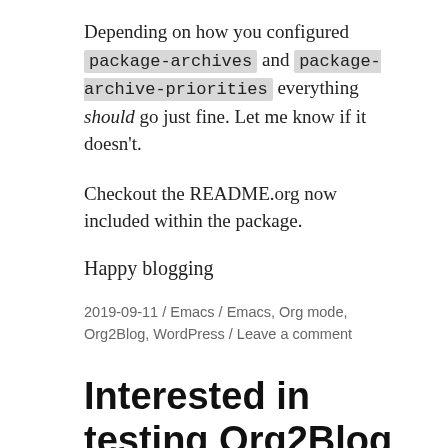Depending on how you configured package-archives and package-archive-priorities everything should go just fine. Let me know if it doesn't.
Checkout the README.org now included within the package.
Happy blogging
2019-09-11 / Emacs / Emacs, Org mode, Org2Blog, WordPress / Leave a comment
Interested in testing Org2Blog v1.1.0?